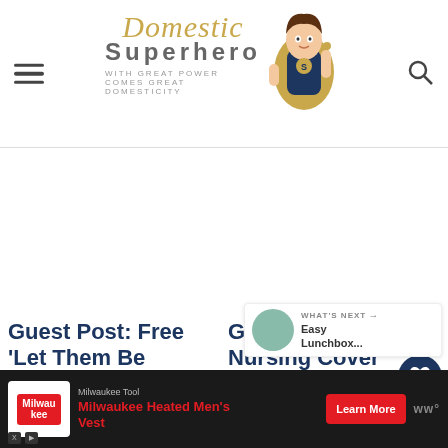Domestic Superhero — with great power comes great domesticity
[Figure (illustration): Domestic Superhero website header with script logo text 'Domestic' in gold, 'Superhero' in bold gray, tagline 'with great power comes great domesticity', cartoon superhero woman character, hamburger menu icon left, search icon right]
[Figure (illustration): Large white/blank content area — advertisement or image placeholder]
Guest Post: Free 'Let Them Be
Guest Post: DIY Nursing Cover
[Figure (infographic): Advertisement for Milwaukee Tool - Milwaukee Heated Men's Vest with red logo, Learn More button]